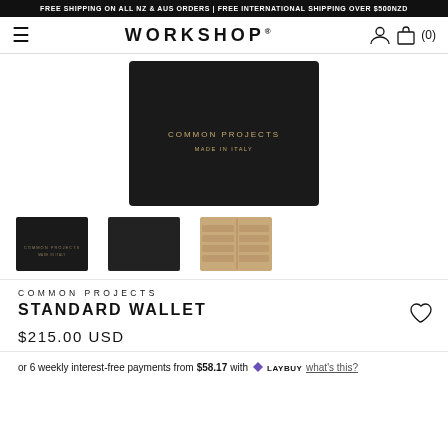FREE SHIPPING ON ALL NZ & AUS ORDERS | FREE INTERNATIONAL SHIPPING OVER $500NZD
WORKSHOP (0)
[Figure (photo): Close-up of a black leather bifold wallet with gold COMMON PROJECTS and MADE IN ITALY text embossed on front]
[Figure (photo): Three product thumbnails: front closed view of black wallet, angled front closed view, and interior open view showing tan leather card slots]
COMMON PROJECTS
STANDARD WALLET
$215.00 USD
or 6 weekly interest-free payments from $58.17 with LAYBUY what's this?